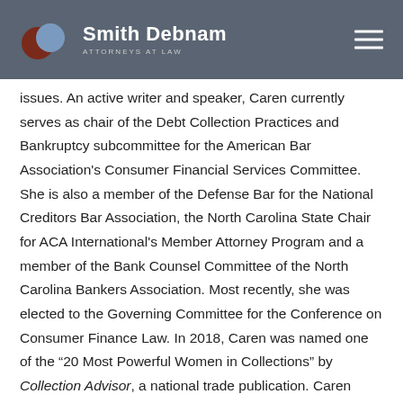Smith Debnam ATTORNEYS AT LAW
issues. An active writer and speaker, Caren currently serves as chair of the Debt Collection Practices and Bankruptcy subcommittee for the American Bar Association's Consumer Financial Services Committee. She is also a member of the Defense Bar for the National Creditors Bar Association, the North Carolina State Chair for ACA International's Member Attorney Program and a member of the Bank Counsel Committee of the North Carolina Bankers Association. Most recently, she was elected to the Governing Committee for the Conference on Consumer Finance Law. In 2018, Caren was named one of the “20 Most Powerful Women in Collections” by Collection Advisor, a national trade publication. Caren oversees a blog titled: Consumer Financial Services Litigation and Compliance dedicated to consumer financial services and has